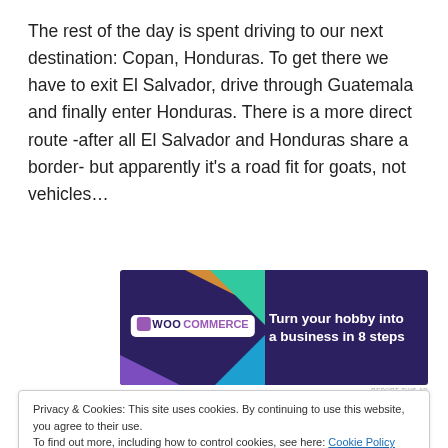The rest of the day is spent driving to our next destination: Copan, Honduras. To get there we have to exit El Salvador, drive through Guatemala and finally enter Honduras. There is a more direct route -after all El Salvador and Honduras share a border- but apparently it's a road fit for goats, not vehicles…
[Figure (infographic): WooCommerce advertisement banner with purple background, colorful triangles, WooCommerce logo, and text 'Turn your hobby into a business in 8 steps']
Countries' officials, and at times having to pay a nominal
Privacy & Cookies: This site uses cookies. By continuing to use this website, you agree to their use.
To find out more, including how to control cookies, see here: Cookie Policy